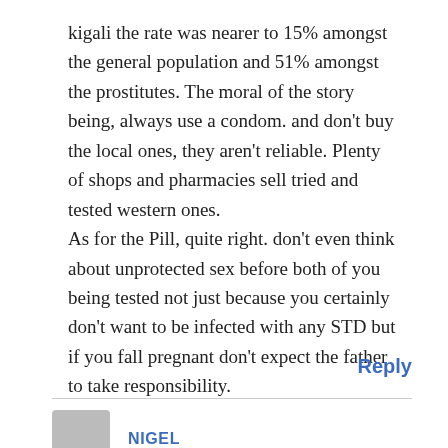kigali the rate was nearer to 15% amongst the general population and 51% amongst the prostitutes. The moral of the story being, always use a condom. and don't buy the local ones, they aren't reliable. Plenty of shops and pharmacies sell tried and tested western ones.
As for the Pill, quite right. don't even think about unprotected sex before both of you being tested not just because you certainly don't want to be infected with any STD but if you fall pregnant don't expect the father to take responsibility.
Reply
NIGEL